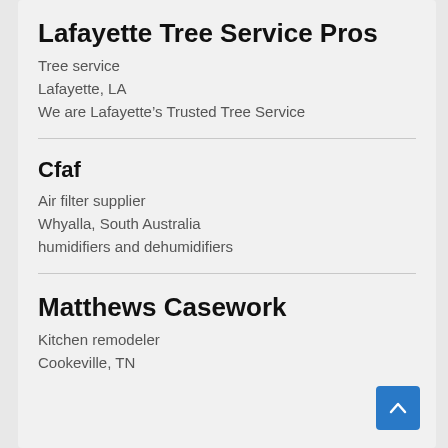Lafayette Tree Service Pros
Tree service
Lafayette, LA
We are Lafayette’s Trusted Tree Service
Cfaf
Air filter supplier
Whyalla, South Australia
humidifiers and dehumidifiers
Matthews Casework
Kitchen remodeler
Cookeville, TN